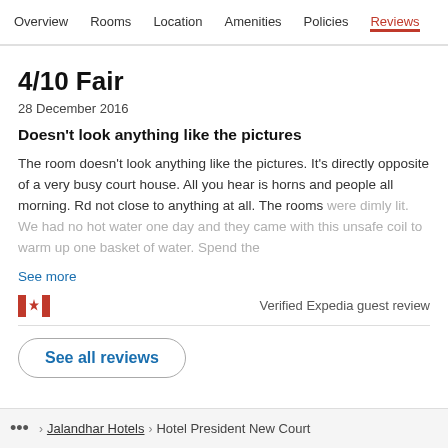Overview  Rooms  Location  Amenities  Policies  Reviews
4/10 Fair
28 December 2016
Doesn't look anything like the pictures
The room doesn't look anything like the pictures. It's directly opposite of a very busy court house. All you hear is horns and people all morning. Rd not close to anything at all. The rooms were dimly lit. We had no hot water one day and they came with this unsafe coil to warm up one basket of water. Spend the
See more
Verified Expedia guest review
See all reviews
... > Jalandhar Hotels > Hotel President New Court